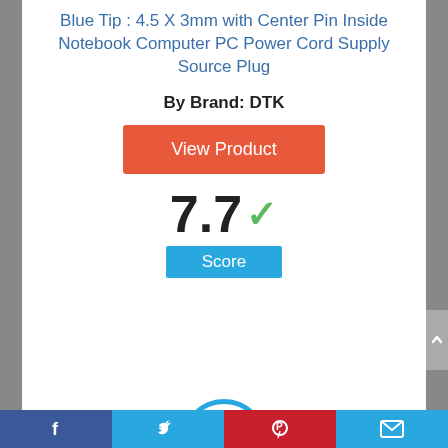Blue Tip : 4.5 X 3mm with Center Pin Inside Notebook Computer PC Power Cord Supply Source Plug
By Brand: DTK
[Figure (other): Orange 'View Product' button]
[Figure (other): Score display: 7.7 with green checkmark and blue 'Score' label]
[Figure (other): Number 6 inside a blue circle]
Facebook | Twitter | Pinterest | Email social sharing bar